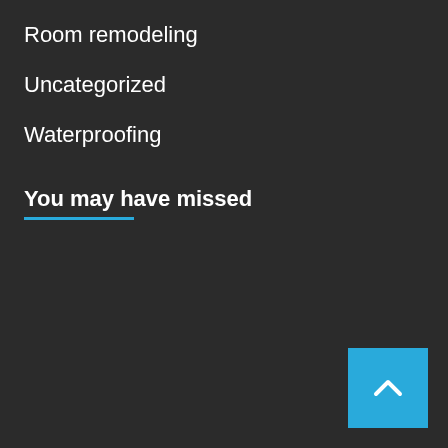Room remodeling
Uncategorized
Waterproofing
You may have missed
[Figure (other): Blue scroll-to-top button with upward chevron arrow in bottom-right corner]